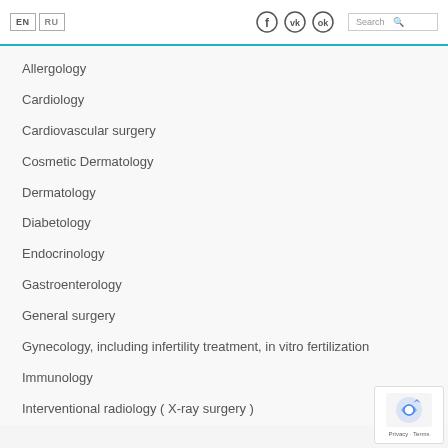EN RU [facebook] [vk] [ok] Search
Allergology
Cardiology
Cardiovascular surgery
Cosmetic Dermatology
Dermatology
Diabetology
Endocrinology
Gastroenterology
General surgery
Gynecology, including infertility treatment, in vitro fertilization
Immunology
Interventional radiology ( X-ray surgery )